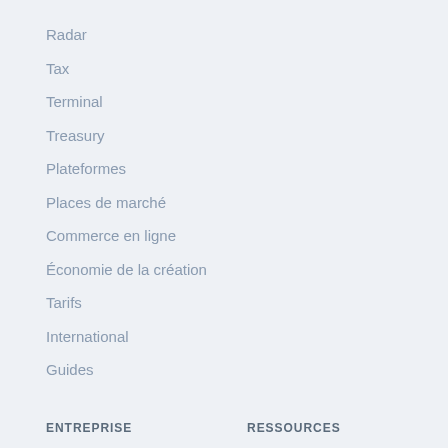Radar
Tax
Terminal
Treasury
Plateformes
Places de marché
Commerce en ligne
Économie de la création
Tarifs
International
Guides
ENTREPRISE
RESSOURCES
Entreprise
Aide
Clients
Contact